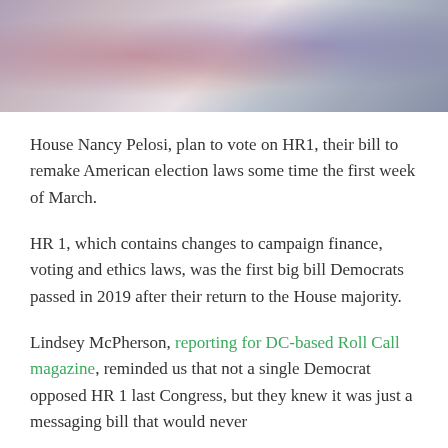[Figure (photo): Blurred/out-of-focus photograph showing people, possibly politicians, with warm and cool tones.]
House Nancy Pelosi, plan to vote on HR1, their bill to remake American election laws some time the first week of March.
HR 1, which contains changes to campaign finance, voting and ethics laws, was the first big bill Democrats passed in 2019 after their return to the House majority.
Lindsey McPherson, reporting for DC-based Roll Call magazine, reminded us that not a single Democrat opposed HR 1 last Congress, but they knew it was just a messaging bill that would never